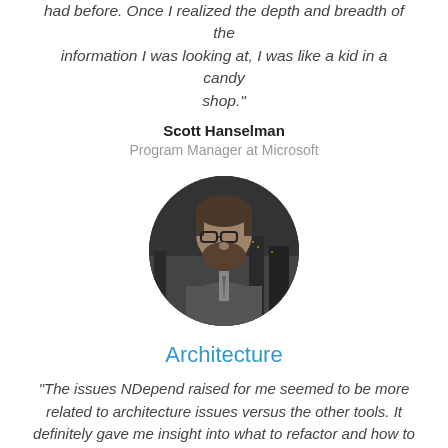had before. Once I realized the depth and breadth of the information I was looking at, I was like a kid in a candy shop."
Scott Hanselman
Program Manager at Microsoft
[Figure (photo): Black and white circular portrait photo of a bearded man wearing glasses and a suit with tie, city lights in background]
Architecture
"The issues NDepend raised for me seemed to be more related to architecture issues versus the other tools. It definitely gave me insight into what to refactor and how to